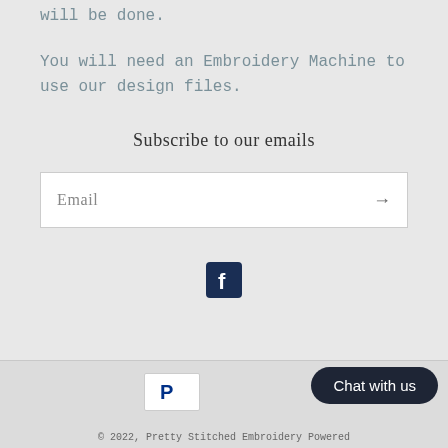will be done.
You will need an Embroidery Machine to use our design files.
Subscribe to our emails
Email
[Figure (logo): Facebook logo icon — dark square with white 'f' letter]
[Figure (logo): PayPal logo icon — blue P on white background]
Chat with us
© 2022, Pretty Stitched Embroidery Powered